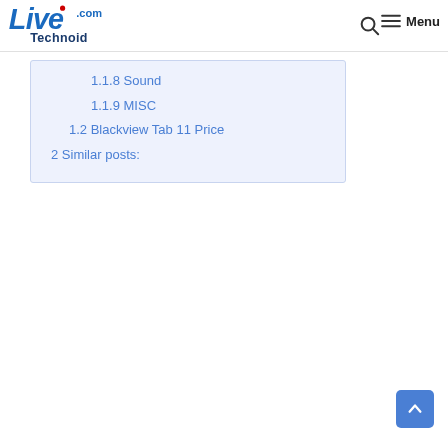[Figure (logo): LiveTechnoid.com logo with stylized blue 'Live' text and '.com' in blue, 'Technoid' in dark blue below]
1.1.8 Sound
1.1.9 MISC
1.2 Blackview Tab 11 Price
2 Similar posts: